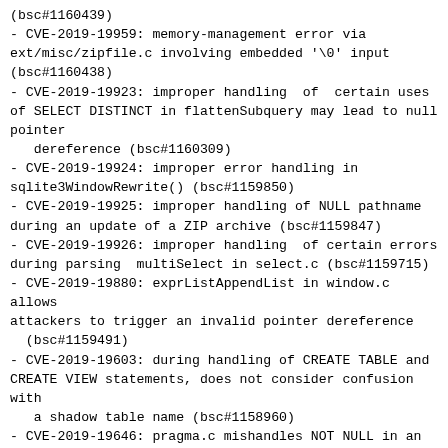(bsc#1160439)
- CVE-2019-19959: memory-management error via ext/misc/zipfile.c involving embedded '\0' input (bsc#1160438)
- CVE-2019-19923: improper handling  of  certain uses of SELECT DISTINCT in flattenSubquery may lead to null pointer
   dereference (bsc#1160309)
- CVE-2019-19924: improper error handling in sqlite3WindowRewrite() (bsc#1159850)
- CVE-2019-19925: improper handling of NULL pathname during an update of a ZIP archive (bsc#1159847)
- CVE-2019-19926: improper handling  of certain errors during parsing  multiSelect in select.c (bsc#1159715)
- CVE-2019-19880: exprListAppendList in window.c allows attackers to trigger an invalid pointer dereference
  (bsc#1159491)
- CVE-2019-19603: during handling of CREATE TABLE and CREATE VIEW statements, does not consider confusion with
  a shadow table name (bsc#1158960)
- CVE-2019-19646: pragma.c mishandles NOT NULL in an integrity_check PRAGMA command in certain cases of generated
  columns (bsc#1158959)
- CVE-2019-19645: alter.c allows attackers to trigger infinite recursion via certain types of self-referential views
  in conjunction with ALTER TABLE statements
(bsc#1158958)